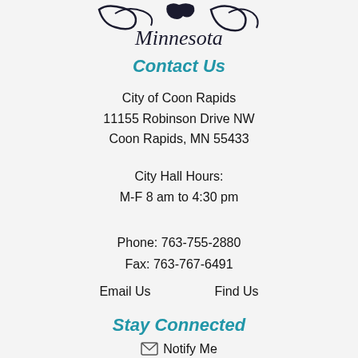[Figure (logo): Coon Rapids Minnesota city logo, partial view showing 'Minnesota' text and decorative bird/scroll graphic]
Contact Us
City of Coon Rapids
11155 Robinson Drive NW
Coon Rapids, MN 55433
City Hall Hours:
M-F 8 am to 4:30 pm
Phone: 763-755-2880
Fax: 763-767-6491
Email Us        Find Us
Stay Connected
Notify Me